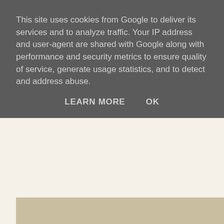This site uses cookies from Google to deliver its services and to analyze traffic. Your IP address and user-agent are shared with Google along with performance and security metrics to ensure quality of service, generate usage statistics, and to detect and address abuse.
LEARN MORE    OK
[Figure (photo): Close-up photo of a painted miniature robot/terminator skull figure with glowing red eye and blue metallic details on a sandy beige surface.]
And next the joys of glow FX and varnish...
Imperial Knights - House Corvus Twins in Manufactorum
Parts: 1 | 2 | 3 | 4 | 5 | 6 | 7 | 8 | 9 | 10 | 11 | 12 | 13 | 14 |
Posted by 40kaddict at 12:13    6 comments: